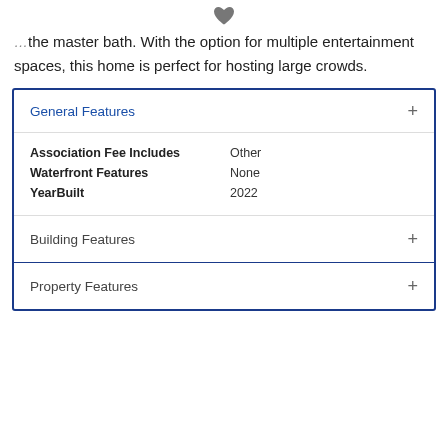[Figure (illustration): Heart/favorite icon (dark gray filled heart shape) centered at top of page]
the master bath. With the option for multiple entertainment spaces, this home is perfect for hosting large crowds.
| Feature | Value |
| --- | --- |
| Association Fee Includes | Other |
| Waterfront Features | None |
| YearBuilt | 2022 |
General Features
Building Features
Property Features